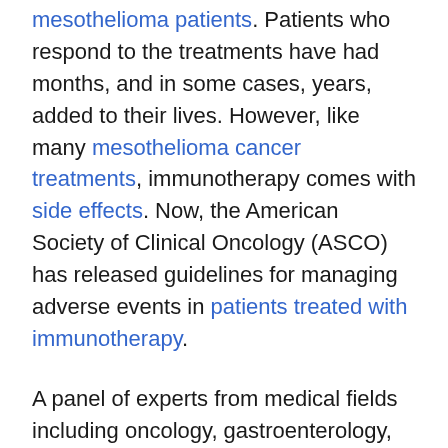mesothelioma patients. Patients who respond to the treatments have had months, and in some cases, years, added to their lives. However, like many mesothelioma cancer treatments, immunotherapy comes with side effects. Now, the American Society of Clinical Oncology (ASCO) has released guidelines for managing adverse events in patients treated with immunotherapy.
A panel of experts from medical fields including oncology, gastroenterology, rheumatology, pulmonology, emergency medicine, and nursing came together to review literature, trial data and case studies published between 2000 and 2017. Using this information, along with their expertise, the